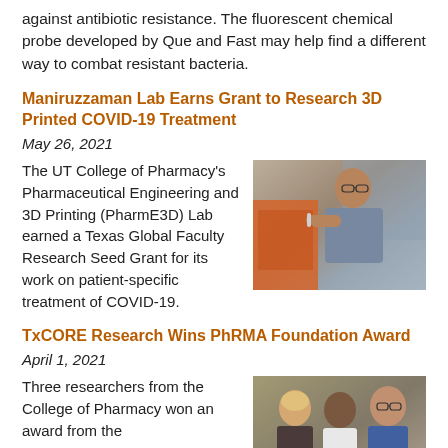against antibiotic resistance. The fluorescent chemical probe developed by Que and Fast may help find a different way to combat resistant bacteria.
Maniruzzaman Lab Earns Grant to Research 3D Printed COVID-19 Treatment
May 26, 2021
The UT College of Pharmacy's Pharmaceutical Engineering and 3D Printing (PharmE3D) Lab earned a Texas Global Faculty Research Seed Grant for its work on patient-specific treatment of COVID-19.
[Figure (photo): Photo of a researcher holding a small object, likely in a lab setting with 3D printing equipment visible in the background]
TxCORE Research Wins PhRMA Foundation Award
April 1, 2021
Three researchers from the College of Pharmacy won an award from the
[Figure (photo): Photo of three researchers: a woman with blonde hair, a woman with dark hair, and a man with glasses]